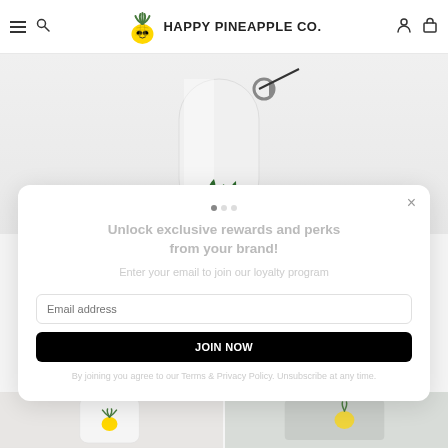Happy Pineapple Co. — navigation header with hamburger menu, search, logo, user and bag icons
[Figure (photo): Partial view of a white stainless steel water bottle with a metal carabiner clip and green plant/pineapple design near the bottom, on a light gray background]
Unlock exclusive rewards and perks from your brand!
Enter your email to join our loyalty program
Email address input field
JOIN NOW button
By joining you agree to our Terms & Privacy Policy. Unsubscribe at any time.
[Figure (photo): Two product thumbnail images at the bottom: left shows a pineapple logo bottle, right shows a lifestyle product photo with pineapple decoration]